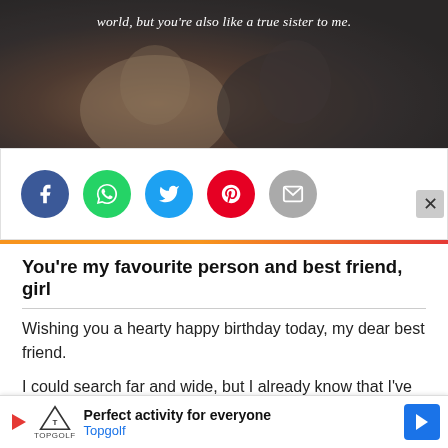[Figure (photo): Two women standing side by side, arms linked, seen from behind. One wearing beige/cream sweater, the other in dark patterned jacket. Text overlay at top in italic white: 'world, but you're also like a true sister to me.']
[Figure (infographic): Social share buttons: Facebook (blue circle), WhatsApp (green circle), Twitter (light blue circle), Pinterest (red circle), Email (grey circle)]
You're my favourite person and best friend, girl
Wishing you a hearty happy birthday today, my dear best friend.

I could search far and wide, but I already know that I've found my
[Figure (infographic): Advertisement banner for Topgolf: 'Perfect activity for everyone' with Topgolf logo and blue navigation arrow button on right.]